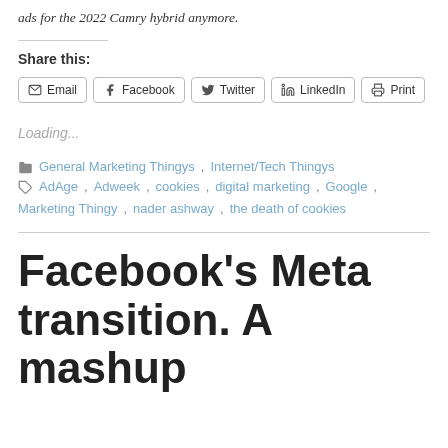ads for the 2022 Camry hybrid anymore.
Share this:
Email  Facebook  Twitter  LinkedIn  Print
Loading...
General Marketing Thingys, Internet/Tech Thingys
AdAge, Adweek, cookies, digital marketing, Google, Marketing Thingy, nader ashway, the death of cookies
Facebook's Meta transition. A mashup